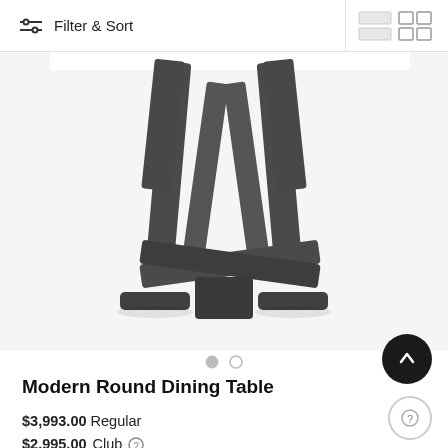Filter & Sort
[Figure (photo): Close-up photo of a modern round dining table base with dark metal geometric legs on a white background]
Modern Round Dining Table
$3,993.00 Regular
$2,995.00 Club
Free Premium In-Home Delivery*